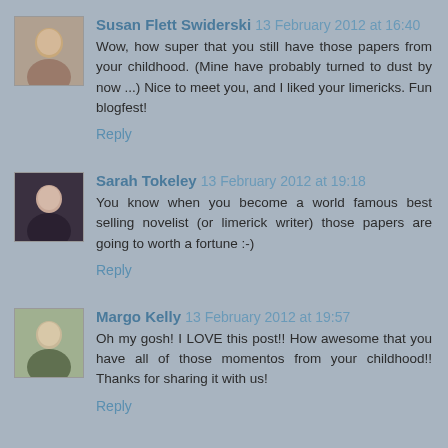Susan Flett Swiderski 13 February 2012 at 16:40
Wow, how super that you still have those papers from your childhood. (Mine have probably turned to dust by now ...) Nice to meet you, and I liked your limericks. Fun blogfest!
Reply
Sarah Tokeley 13 February 2012 at 19:18
You know when you become a world famous best selling novelist (or limerick writer) those papers are going to worth a fortune :-)
Reply
Margo Kelly 13 February 2012 at 19:57
Oh my gosh! I LOVE this post!! How awesome that you have all of those momentos from your childhood!! Thanks for sharing it with us!
Reply